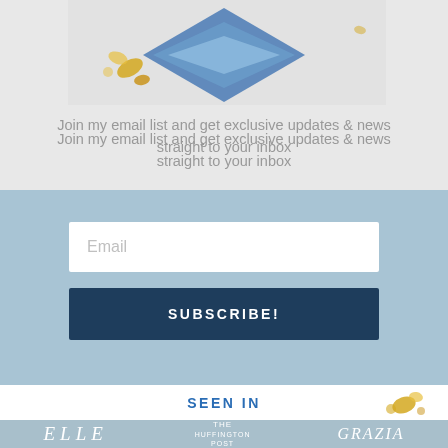[Figure (illustration): Decorative image area showing a diamond/gem shape in blue tones with gold floral elements on a grey background]
Join my email list and get exclusive updates & news straight to your inbox
Email
SUBSCRIBE!
SEEN IN
[Figure (logo): Media logos bar showing ELLE, THE HUFFINGTON POST, and GRAZIA on a light blue background]